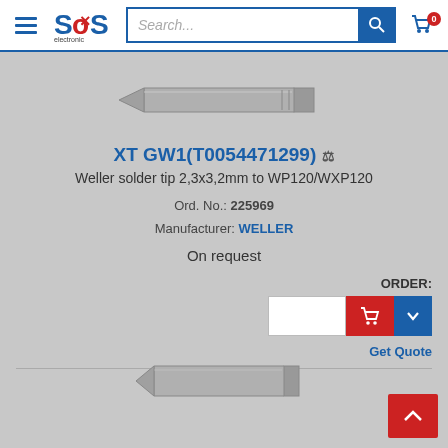SOS electronic website header with search bar and cart
[Figure (illustration): Product illustration of a soldering tip (wedge/chisel shaped, grey, horizontal orientation)]
XT GW1(T0054471299)
Weller solder tip 2,3x3,2mm to WP120/WXP120
Ord. No.: 225969
Manufacturer: WELLER
On request
ORDER:
[Figure (illustration): Partial product image at bottom of page, same soldering tip, partially visible]